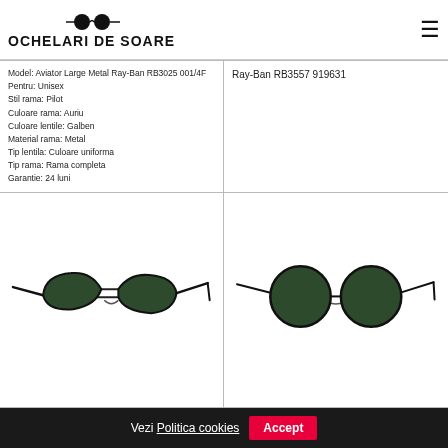OCHELARI DE SOARE
Model: Aviator Large Metal Ray-Ban RB3025 001/4F
Pentru: Unisex
Stil rama: Pilot
Culoare rama: Auriu
Culoare lentile: Galben
Material rama: Metal
Tip lentila: Culoare uniforma
Tip rama: Rama completa
Garantie: 24 luni
Ray-Ban RB3557 919631
[Figure (photo): Ray-Ban aviator style sunglasses with double bridge, black metal frame and dark green lenses, side view]
[Figure (photo): Ray-Ban round metal sunglasses RB3557, black metal frame with dark green lenses, side view]
Vezi Politica cookies   Accept